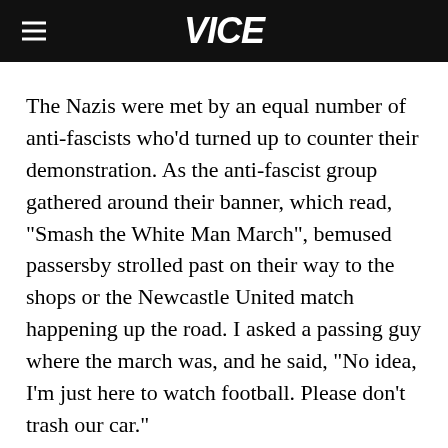VICE
The Nazis were met by an equal number of anti-fascists who'd turned up to counter their demonstration. As the anti-fascist group gathered around their banner, which read, "Smash the White Man March", bemused passersby strolled past on their way to the shops or the Newcastle United match happening up the road. I asked a passing guy where the march was, and he said, "No idea, I'm just here to watch football. Please don't trash our car."